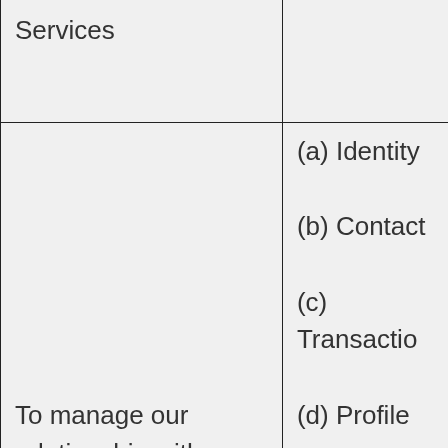| Services |  |
| To manage our relationship with you which will include responding to a | (a) Identity
(b) Contact
(c) Transaction
(d) Profile
(e) Marketing |